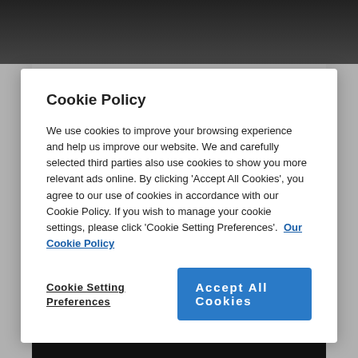[Figure (photo): Dark background with partial face of a person visible at top of page behind cookie modal]
Cookie Policy
We use cookies to improve your browsing experience and help us improve our website. We and carefully selected third parties also use cookies to show you more relevant ads online. By clicking 'Accept All Cookies', you agree to our use of cookies in accordance with our Cookie Policy. If you wish to manage your cookie settings, please click 'Cookie Setting Preferences'.  Our Cookie Policy
Cookie Setting Preferences
Accept All Cookies
Email Ian
[Figure (photo): Dark background image at bottom of page with partial face visible]